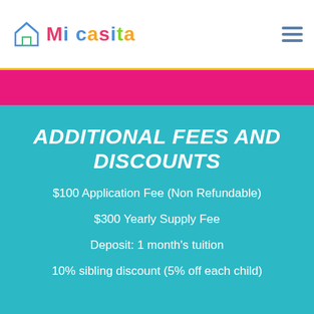[Figure (logo): Mi Casita logo with house icon and colorful text]
ADDITIONAL FEES AND DISCOUNTS
$100 Application Fee (Non Refundable)
$300 Yearly Supply Fee
Deposit: 1 month's tuition
10% sibling discount (5% off each child)